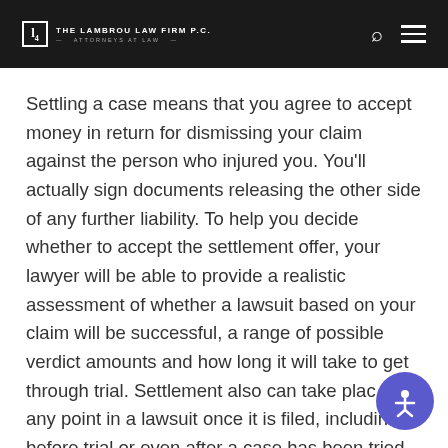THE LAMBROU LAW FIRM P.C. — ATTORNEYS AT LAW
Settling a case means that you agree to accept money in return for dismissing your claim against the person who injured you. You'll actually sign documents releasing the other side of any further liability. To help you decide whether to accept the settlement offer, your lawyer will be able to provide a realistic assessment of whether a lawsuit based on your claim will be successful, a range of possible verdict amounts and how long it will take to get through trial. Settlement also can take place at any point in a lawsuit once it is filed, including before trial or even after a case has been tried